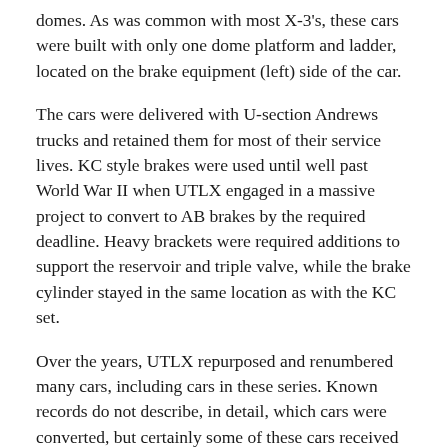domes. As was common with most X-3's, these cars were built with only one dome platform and ladder, located on the brake equipment (left) side of the car.
The cars were delivered with U-section Andrews trucks and retained them for most of their service lives. KC style brakes were used until well past World War II when UTLX engaged in a massive project to convert to AB brakes by the required deadline. Heavy brackets were required additions to support the reservoir and triple valve, while the brake cylinder stayed in the same location as with the KC set.
Over the years, UTLX repurposed and renumbered many cars, including cars in these series. Known records do not describe, in detail, which cars were converted, but certainly some of these cars received internal heaters and were renumbered into a 5xxxx range. Others may have been insulated and jacketed with or without heaters and numbered into the 6xxxx range. Nevertheless, 32 years after